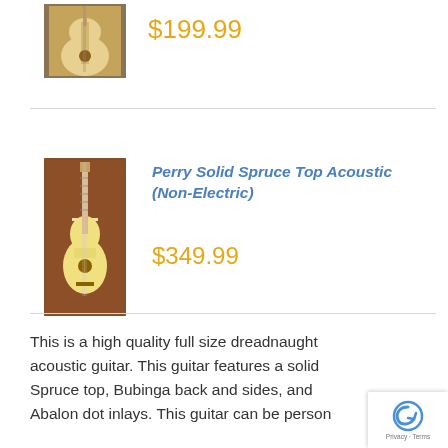[Figure (photo): Acoustic guitar product thumbnail image (top item, partially visible)]
$199.99
[Figure (photo): Perry Solid Spruce Top Acoustic guitar product photo against brick background]
Perry Solid Spruce Top Acoustic (Non-Electric)
$349.99
This is a high quality full size dreadnaught acoustic guitar. This guitar features a solid Spruce top, Bubinga back and sides, and Abalon dot inlays. This guitar can be perso...